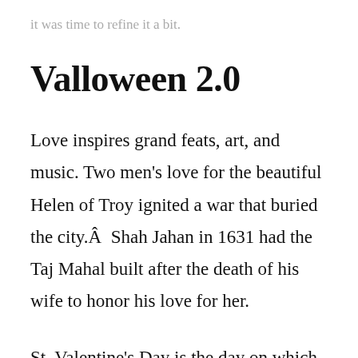it was time to refine it a bit.
Valloween 2.0
Love inspires grand feats, art, and music. Two men's love for the beautiful Helen of Troy ignited a war that buried the city.Â  Shah Jahan in 1631 had the Taj Mahal built after the death of his wife to honor his love for her.
St. Valentine's Day is the day on which we celebrate and honor love. St. Valentine served